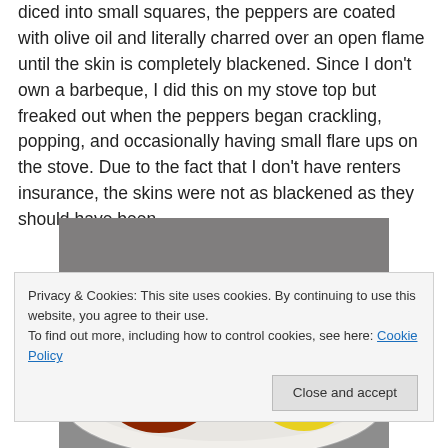diced into small squares, the peppers are coated with olive oil and literally charred over an open flame until the skin is completely blackened. Since I don't own a barbeque, I did this on my stove top but freaked out when the peppers began crackling, popping, and occasionally having small flare ups on the stove. Due to the fact that I don't have renters insurance, the skins were not as blackened as they should have been.
[Figure (photo): Two peppers on a white plate — one charred/blackened red/orange pepper and one yellow pepper, photographed on a kitchen counter with a dark granite background.]
Privacy & Cookies: This site uses cookies. By continuing to use this website, you agree to their use.
To find out more, including how to control cookies, see here: Cookie Policy
Close and accept